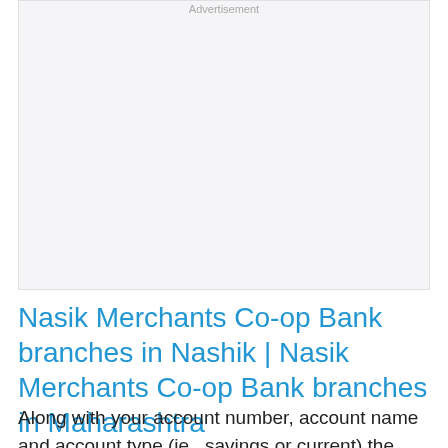[Figure (other): Advertisement placeholder box]
Nasik Merchants Co-op Bank branches in Nashik | Nasik Merchants Co-op Bank branches in Maharashtra
Along with your account number, account name and account type (ie., savings or current) the